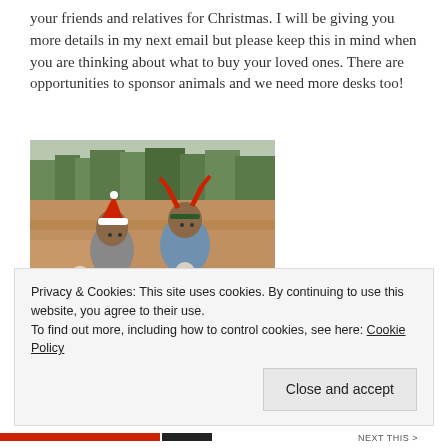your friends and relatives for Christmas. I will be giving you more details in my next email but please keep this in mind when you are thinking about what to buy your loved ones. There are opportunities to sponsor animals and we need more desks too!
[Figure (photo): Two children wearing Christmas headwear (one with a red Santa hat, one with red reindeer antlers) each holding a small goat or lamb, standing in a rural African setting with trees and a dirt ground in the background.]
Privacy & Cookies: This site uses cookies. By continuing to use this website, you agree to their use.
To find out more, including how to control cookies, see here: Cookie Policy
Close and accept